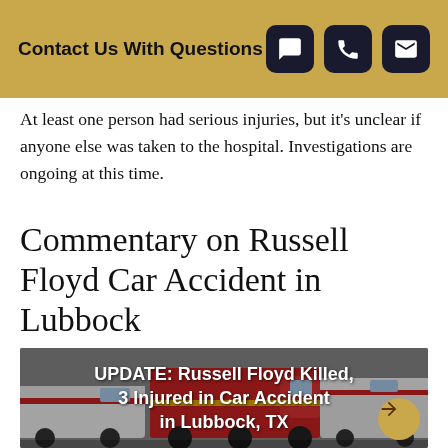Contact Us With Questions
At least one person had serious injuries, but it's unclear if anyone else was taken to the hospital. Investigations are ongoing at this time.
Commentary on Russell Floyd Car Accident in Lubbock
[Figure (photo): Emergency vehicles including ambulances and a fire truck, with overlay text: UPDATE: Russell Floyd Killed, 3 Injured in Car Accident in Lubbock, TX]